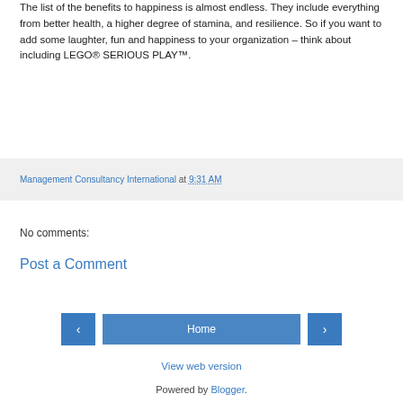The list of the benefits to happiness is almost endless. They include everything from better health, a higher degree of stamina, and resilience. So if you want to add some laughter, fun and happiness to your organization – think about including LEGO® SERIOUS PLAY™.
Management Consultancy International at 9:31 AM
No comments:
Post a Comment
‹  Home  ›
View web version
Powered by Blogger.